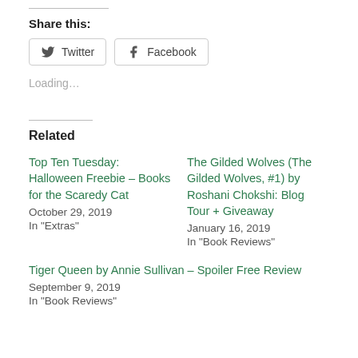Share this:
[Figure (other): Twitter and Facebook share buttons]
Loading...
Related
Top Ten Tuesday: Halloween Freebie – Books for the Scaredy Cat
October 29, 2019
In "Extras"
The Gilded Wolves (The Gilded Wolves, #1) by Roshani Chokshi: Blog Tour + Giveaway
January 16, 2019
In "Book Reviews"
Tiger Queen by Annie Sullivan – Spoiler Free Review
September 9, 2019
In "Book Reviews"